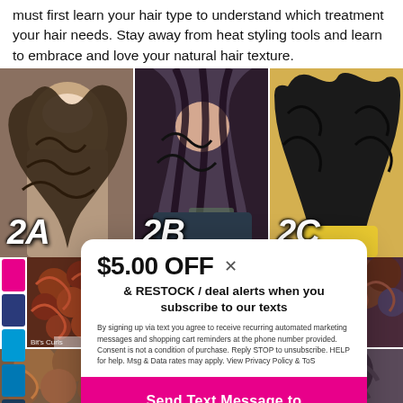must first learn your hair type to understand which treatment your hair needs. Stay away from heat styling tools and learn to embrace and love your natural hair texture.
[Figure (photo): Three-panel collage showing women with different wavy/curly hair types labeled 2A, 2B, and 2C]
[Figure (infographic): Modal popup overlay offering $5.00 OFF and RESTOCK/deal alerts when subscribing to texts, with Send Text Message to Subscribe button]
[Figure (photo): Partial bottom row of photos showing additional hair type examples]